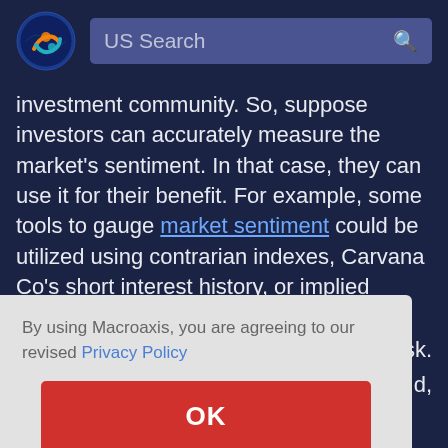[Figure (logo): Macroaxis globe logo with orange and teal swirls on dark blue background]
US Search
investment community. So, suppose investors can accurately measure the market's sentiment. In that case, they can use it for their benefit. For example, some tools to gauge market sentiment could be utilized using contrarian indexes, Carvana Co's short interest history, or implied volatility extrapolated from Carvana Co options trading.
By using Macroaxis, you are agreeing to our revised Privacy Policy
OK
sk.
d,
even if Carvana Co position performs unexpectedly, the